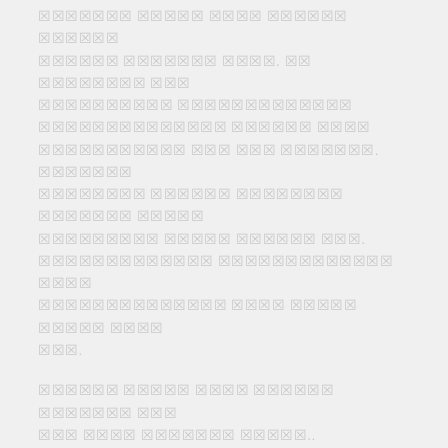Marathi script text content (unreadable due to rendering as placeholder boxes)
Marathi script text content second paragraph
Gunaratna Sawale